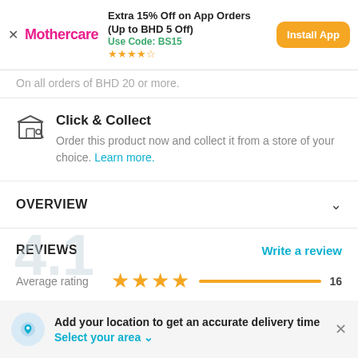[Figure (screenshot): Mothercare app install banner with logo, promo text 'Extra 15% Off on App Orders (Up to BHD 5 Off)', code BS15, star rating, and Install App button]
On all orders of BHD 20 or more.
Click & Collect
Order this product now and collect it from a store of your choice. Learn more.
OVERVIEW
REVIEWS
Write a review
Average rating — 4 stars — 16
Add your location to get an accurate delivery time
Select your area